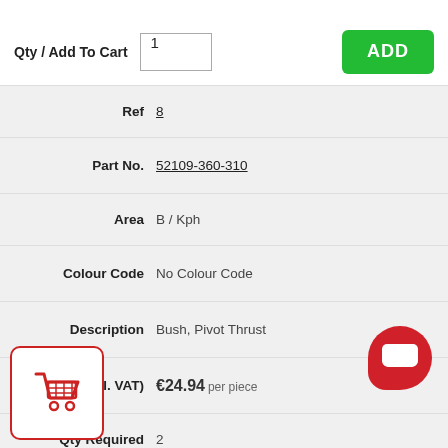| Field | Value |
| --- | --- |
| Qty / Add To Cart | 1 [ADD button] |
| Ref | 8 |
| Part No. | 52109-360-310 |
| Area | B / Kph |
| Colour Code | No Colour Code |
| Description | Bush, Pivot Thrust |
| Price (Incl. VAT) | €24.94 per piece |
| Qty Required | 2 |